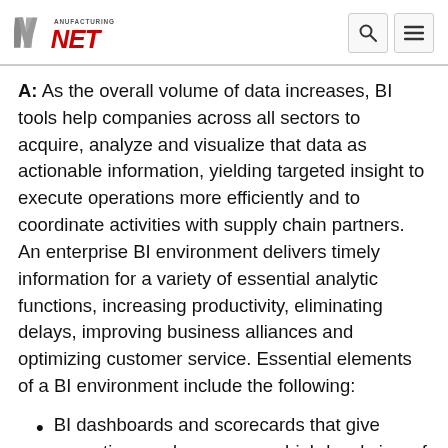Manufacturing NET
A: As the overall volume of data increases, BI tools help companies across all sectors to acquire, analyze and visualize that data as actionable information, yielding targeted insight to execute operations more efficiently and to coordinate activities with supply chain partners. An enterprise BI environment delivers timely information for a variety of essential analytic functions, increasing productivity, eliminating delays, improving business alliances and optimizing customer service. Essential elements of a BI environment include the following:
BI dashboards and scorecards that give executives and managers a high-level view of critical indicators and metrics